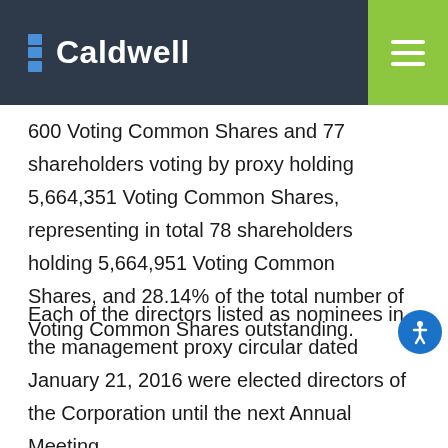Caldwell
600 Voting Common Shares and 77 shareholders voting by proxy holding 5,664,351 Voting Common Shares, representing in total 78 shareholders holding 5,664,951 Voting Common Shares, and 28.14% of the total number of Voting Common Shares outstanding.
Each of the directors listed as nominees in the management proxy circular dated January 21, 2016 were elected directors of the Corporation until the next Annual Meeting.